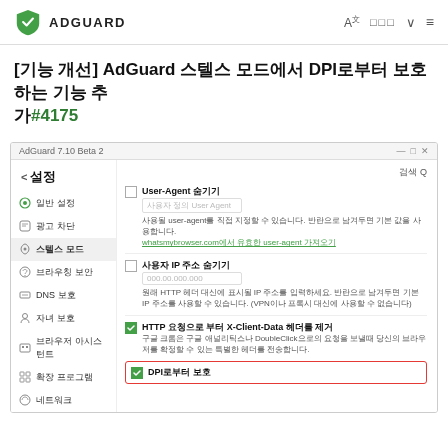ADGUARD
[기능 개선] AdGuard 스텔스 모드에서 DPI로부터 보호하는 기능 추가 #4175
[Figure (screenshot): Screenshot of AdGuard 7.10 Beta 2 settings panel showing Stealth Mode settings including User-Agent spoofing, Hide user IP address, HTTP request X-Client-Data header removal, and DPI protection option highlighted in red border.]